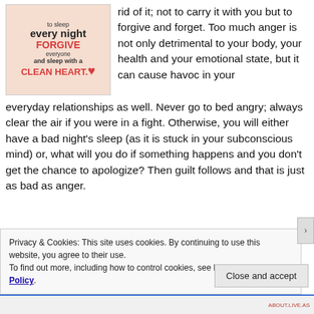[Figure (illustration): Motivational quote image on peach/pink background reading: 'to sleep every night FORGIVE everyone and sleep with a CLEAN HEART.' with a red heart outline graphic]
rid of it; not to carry it with you but to forgive and forget. Too much anger is not only detrimental to your body, your health and your emotional state, but it can cause havoc in your everyday relationships as well. Never go to bed angry; always clear the air if you were in a fight. Otherwise, you will either have a bad night's sleep (as it is stuck in your subconscious mind) or, what will you do if something happens and you don't get the chance to apologize? Then guilt follows and that is just as bad as anger.
Privacy & Cookies: This site uses cookies. By continuing to use this website, you agree to their use.
To find out more, including how to control cookies, see here: Cookie Policy.
Close and accept